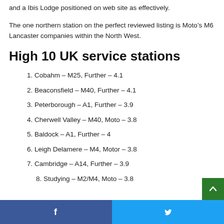and a Ibis Lodge positioned on web site as effectively.
The one northern station on the perfect reviewed listing is Moto’s M6 Lancaster companies within the North West.
High 10 UK service stations
1. Cobahm – M25, Further – 4.1
2. Beaconsfield – M40, Further – 4.1
3. Peterborough – A1, Further – 3.9
4. Cherwell Valley – M40, Moto – 3.8
5. Baldock – A1, Further – 4
6. Leigh Delamere – M4, Motor – 3.8
7. Cambridge – A14, Further – 3.9
8. Studying – M2/M4, Moto – 3.8